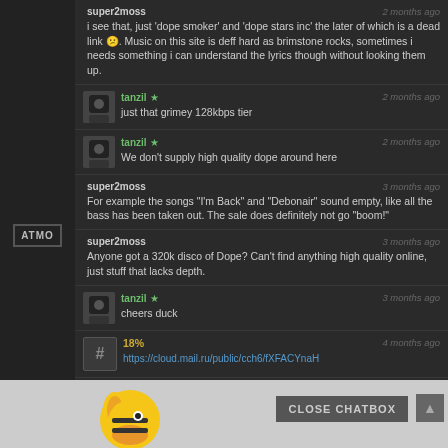super2moss — 2 months ago
i see that, just 'dope smoker' and 'dope stars inc' the later of which is a dead link 😕. Music on this site is deff hard as brimstone rocks, sometimes i needs something i can understand the lyrics though without looking them up.
tanzil ★ — 2 months ago
just that grimey 128kbps tier
tanzil ★ — 2 months ago
We don't supply high quality dope around here
super2moss — 3 months ago
For example the songs "I'm Back" and "Debonair" sound empty, like all the bass has been taken out. The sale does definitely not go "boom!"
super2moss — 3 months ago
Anyone got a 320k disco of Dope? Can't find anything high quality online, just stuff that lacks depth.
tanzil ★ — 3 months ago
cheers duck
18% — 4 months ago
https://cloud.mail.ru/public/cch6/fXFACYnaH
18% — 4 months ago
Black Star - "No Fear Of Time" - 2022 Hip Hop 320kbps
18% — 4 months ago
name
message
37
CLOSE CHATBOX
ATMO
RECOMM